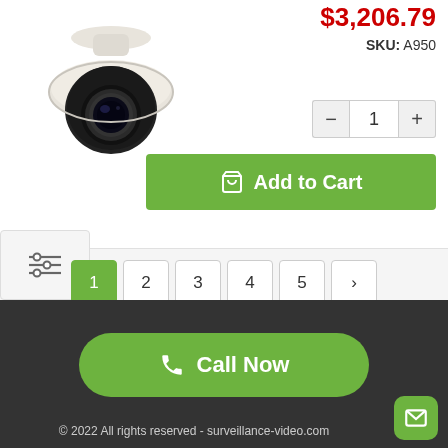[Figure (photo): PTZ dome security camera, white/black, viewed from front-left angle]
$3,206.79
SKU: A950
1
Add to Cart
1 2 3 4 5 >
Call Now
© 2022 All rights reserved - surveillance-video.com